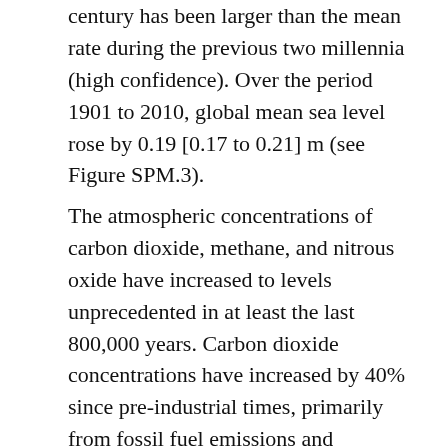century has been larger than the mean rate during the previous two millennia (high confidence). Over the period 1901 to 2010, global mean sea level rose by 0.19 [0.17 to 0.21] m (see Figure SPM.3).
The atmospheric concentrations of carbon dioxide, methane, and nitrous oxide have increased to levels unprecedented in at least the last 800,000 years. Carbon dioxide concentrations have increased by 40% since pre-industrial times, primarily from fossil fuel emissions and secondarily from net land use change emissions. The ocean has absorbed about 30% of the emitted anthropogenic carbon dioxide, causing ocean acidification (see Figure SPM.4).